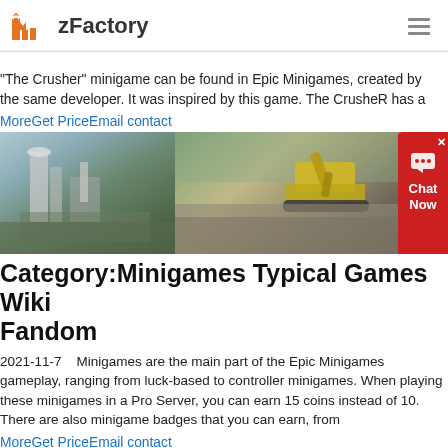zFactory
"The Crusher" minigame can be found in Epic Minigames, created by the same developer. It was inspired by this game. The CrusheR has a
MoreGet PriceEmail contact
[Figure (photo): Two industrial/mining site photos side by side: left shows a large industrial mill or grinder machine outdoors, right shows an excavator working on a rocky/gravel site.]
Category:Minigames Typical Games Wiki Fandom
2021-11-7   Minigames are the main part of the Epic Minigames gameplay, ranging from luck-based to controller minigames. When playing these minigames in a Pro Server, you can earn 15 coins instead of 10. There are also minigame badges that you can earn, from
MoreGet PriceEmail contact